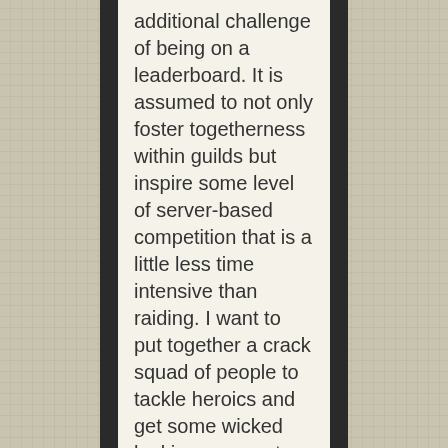additional challenge of being on a leaderboard. It is assumed to not only foster togetherness within guilds but inspire some level of server-based competition that is a little less time intensive than raiding. I want to put together a crack squad of people to tackle heroics and get some wicked looking gear, not going to lie. Given how much I have in dungeons right now with my guild, I am definitely sinking my teeth into this wholeheartedly.